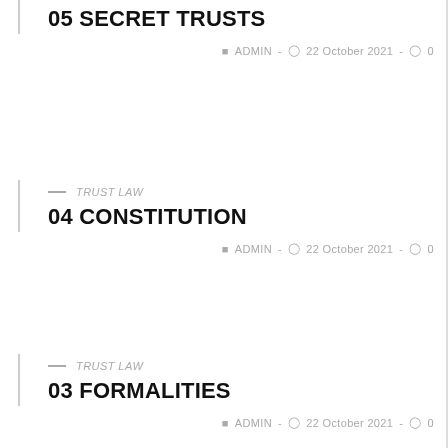05 SECRET TRUSTS
ADMIN - 22 October 2021 - 0
TRUST LAW
04 CONSTITUTION
ADMIN - 22 October 2021 - 0
TRUST LAW
03 FORMALITIES
ADMIN - 22 October 2021 - 0